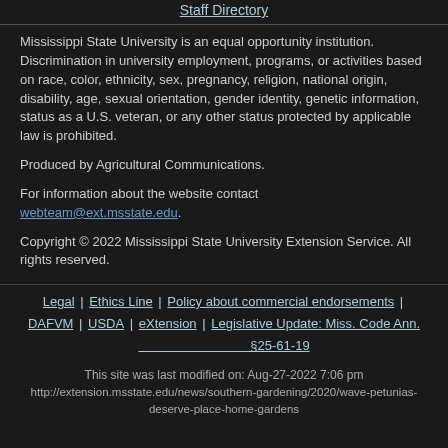Staff Directory
Mississippi State University is an equal opportunity institution. Discrimination in university employment, programs, or activities based on race, color, ethnicity, sex, pregnancy, religion, national origin, disability, age, sexual orientation, gender identity, genetic information, status as a U.S. veteran, or any other status protected by applicable law is prohibited.
Produced by Agricultural Communications.
For information about the website contact webteam@ext.msstate.edu.
Copyright © 2022 Mississippi State University Extension Service. All rights reserved.
Legal | Ethics Line | Policy about commercial endorsements | DAFVM | USDA | eXtension | Legislative Update: Miss. Code Ann. §25-61-19
This site was last modified on: Aug-27-2022 7:06 pm
http://extension.msstate.edu/news/southern-gardening/2020/wave-petunias-deserve-place-home-gardens